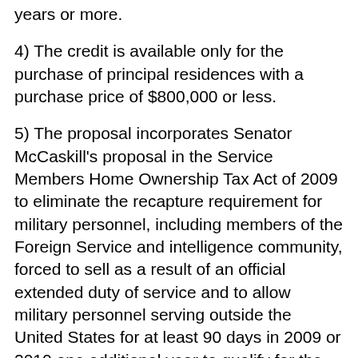years or more.
4) The credit is available only for the purchase of principal residences with a purchase price of $800,000 or less.
5) The proposal incorporates Senator McCaskill's proposal in the Service Members Home Ownership Tax Act of 2009 to eliminate the recapture requirement for military personnel, including members of the Foreign Service and intelligence community, forced to sell as a result of an official extended duty of service and to allow military personnel serving outside the United States for at least 90 days in 2009 or 2010 one additional year to qualify for the credit.
6) The proposal includes anti-fraud language.
7) The proposal also incorporates...